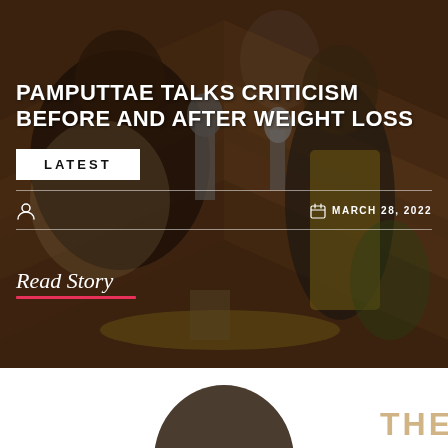[Figure (photo): Two women in a podcast studio setting with a wooden chevron-pattern wall background and a logo. One woman is heavier-set in a patterned outfit, the other is slim in a yellow outfit. Both are laughing.]
PAMPUTTAE TALKS CRITICISM BEFORE AND AFTER WEIGHT LOSS
LATEST
MARCH 28, 2022
Read Story
[Figure (photo): Bottom portion of a page showing the top of a person's head and partial text reading THE in golden/tan color]